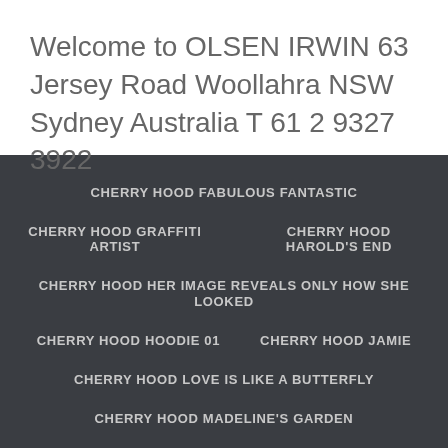Welcome to OLSEN IRWIN 63 Jersey Road Woollahra NSW Sydney Australia T 61 2 9327 3922
CHERRY HOOD FABULOUS FANTASTIC
CHERRY HOOD GRAFFITI ARTIST
CHERRY HOOD HAROLD'S END
CHERRY HOOD HER IMAGE REVEALS ONLY HOW SHE LOOKED
CHERRY HOOD HOODIE 01
CHERRY HOOD JAMIE
CHERRY HOOD LOVE IS LIKE A BUTTERFLY
CHERRY HOOD MADELINE'S GARDEN